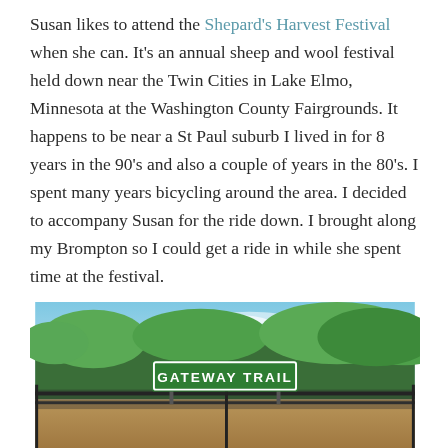Susan likes to attend the Shepard's Harvest Festival when she can. It's an annual sheep and wool festival held down near the Twin Cities in Lake Elmo, Minnesota at the Washington County Fairgrounds. It happens to be near a St Paul suburb I lived in for 8 years in the 90's and also a couple of years in the 80's. I spent many years bicycling around the area. I decided to accompany Susan for the ride down. I brought along my Brompton so I could get a ride in while she spent time at the festival.
[Figure (photo): Photo of a green street sign reading 'GATEWAY TRAIL' mounted on a chain-link fence, with green leafy trees and blue sky in the background.]